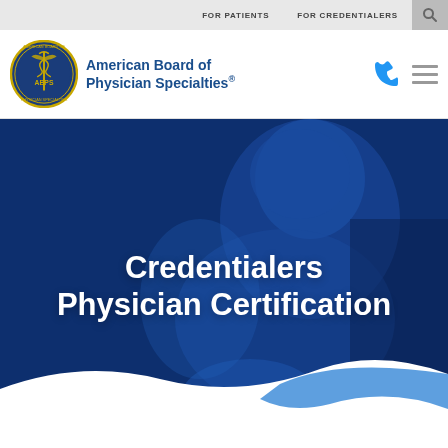FOR PATIENTS   FOR CREDENTIALERS
[Figure (logo): American Board of Physician Specialties circular seal logo with caduceus]
American Board of Physician Specialties®
[Figure (photo): Hero image of a surgeon in blue scrubs and surgical mask working, overlaid with dark blue tint. Text overlay reads: Credentialers Physician Certification]